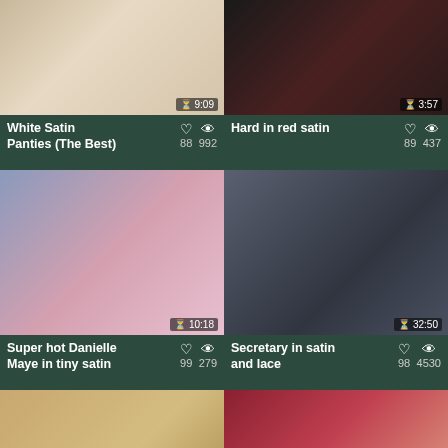[Figure (screenshot): Video thumbnail - White Satin Panties (The Best), duration 9:09]
[Figure (screenshot): Video thumbnail - Hard in red satin, duration 3:57]
White Satin Panties (The Best) ♡ 88 👁 992
Hard in red satin ♡ 89 👁 437
[Figure (screenshot): Video thumbnail - Super hot Danielle Maye in tiny satin, duration 10:18]
[Figure (screenshot): Video thumbnail - Secretary in satin and lace, duration 32:50]
Super hot Danielle Maye in tiny satin ♡ 99 👁 279
Secretary in satin and lace ♡ 98 👁 4530
[Figure (screenshot): Video thumbnail - Overwhelming luging nike gets, duration 8:00]
[Figure (screenshot): Video thumbnail - Sarah McDonald Only Silk and, duration 6:46]
Overwhelming luging nike gets ♡ 91 👁 1416
Sarah McDonald Only Silk and ♡ 89 👁 3278